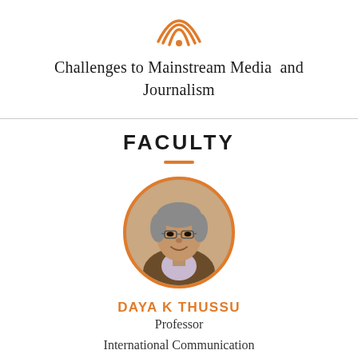[Figure (logo): Orange circular concentric rings logo at top center]
Challenges to Mainstream Media and Journalism
FACULTY
[Figure (photo): Circular portrait photo of Daya K Thussu with orange circular border, man with glasses and grey hair wearing brown jacket]
DAYA K THUSSU
Professor
International Communication